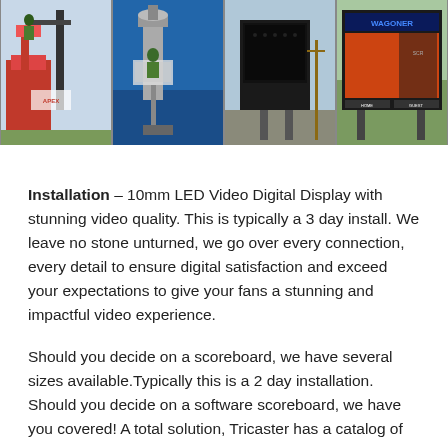[Figure (photo): Four photos in a horizontal strip showing LED video display installation: (1) worker on aerial lift working on a sign structure with Apex logo visible, (2) worker on lift with industrial equipment/ductwork on a blue surface, (3) LED display panel being installed/transported outdoors, (4) completed Wagoner scoreboard LED display sign.]
Installation – 10mm LED Video Digital Display with stunning video quality. This is typically a 3 day install. We leave no stone unturned, we go over every connection, every detail to ensure digital satisfaction and exceed your expectations to give your fans a stunning and impactful video experience.
Should you decide on a scoreboard, we have several sizes available.Typically this is a 2 day installation. Should you decide on a software scoreboard, we have you covered! A total solution, Tricaster has a catalog of